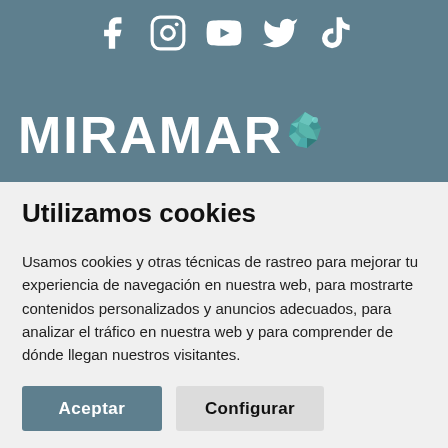[Figure (screenshot): Header with social media icons (Facebook, Instagram, YouTube, Twitter, TikTok) on a teal/steel blue background, with MIRAMAR logo text and a colorful geometric chameleon icon]
Utilizamos cookies
Usamos cookies y otras técnicas de rastreo para mejorar tu experiencia de navegación en nuestra web, para mostrarte contenidos personalizados y anuncios adecuados, para analizar el tráfico en nuestra web y para comprender de dónde llegan nuestros visitantes.
Aceptar
Configurar